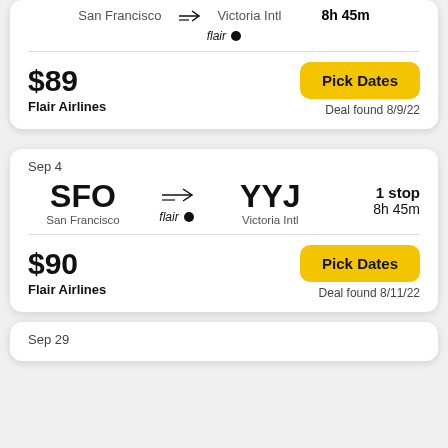San Francisco → Victoria Intl
flair
8h 45m
$89
Flair Airlines
Pick Dates
Deal found 8/9/22
Sep 4
SFO → YYJ
San Francisco → Victoria Intl
flair
1 stop
8h 45m
$90
Flair Airlines
Pick Dates
Deal found 8/11/22
Sep 29